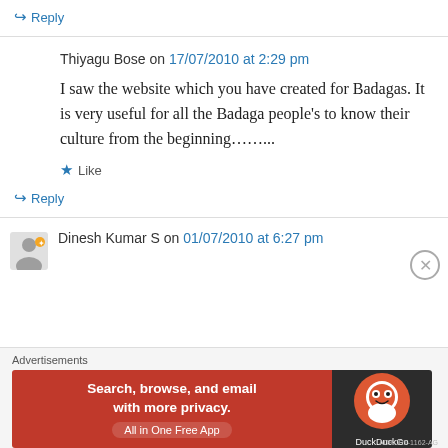↪ Reply
Thiyagu Bose on 17/07/2010 at 2:29 pm
I saw the website which you have created for Badagas. It is very useful for all the Badaga people's to know their culture from the beginning……...
★ Like
↪ Reply
Dinesh Kumar S on 01/07/2010 at 6:27 pm
Advertisements
[Figure (screenshot): DuckDuckGo advertisement banner: Search, browse, and email with more privacy. All in One Free App.]